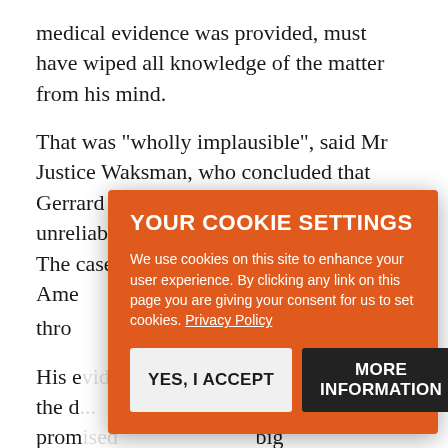medical evidence was provided, must have wiped all knowledge of the matter from his mind.
That was "wholly implausible", said Mr Justice Waksman, who concluded that Gerrard had "lied" and was a "highly unreliable and at times dishonest witn[ess". The case — Algeria-Re-Ame...thro...]
His e[vidence...] said the d[...] prom[ised...] big fuck[...] this is th[e...] y well have made", said the judge. Gerrard's boasts extended to his profile on Dechert's website, which asserted with "no evidence" that he was once "shortlisted to be Director of the SFO".
Gerrard was caught in another fib when he testified
[Figure (screenshot): Cookie consent modal overlay with orange background. Title: 'YOUR COOKIE SETTINGS'. Body text: 'We use cookies on this site to enhance your user experience. By clicking any link on this page you are giving your consent for us to set cookies. Privacy Policy'. Two buttons: 'YES, I ACCEPT' (light gray) and 'MORE INFORMATION' (dark/black).]